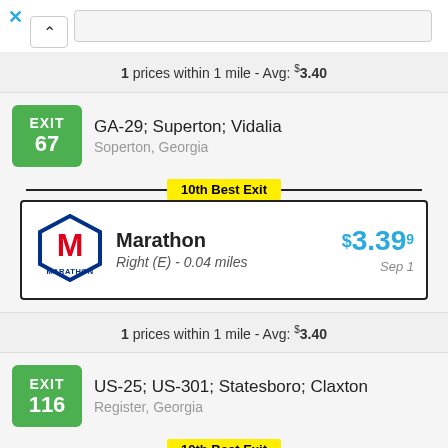App navigation bar with close (X) button, collapse chevron, and search bar
1 prices within 1 mile - Avg: $3.40
EXIT 67 GA-29; Superton; Vidalia Soperton, Georgia
10th Best Exit
Marathon Right (E) - 0.04 miles $3.399 Sep 1
1 prices within 1 mile - Avg: $3.40
EXIT 116 US-25; US-301; Statesboro; Claxton Register, Georgia
10th Best Exit
Chevron $3.399